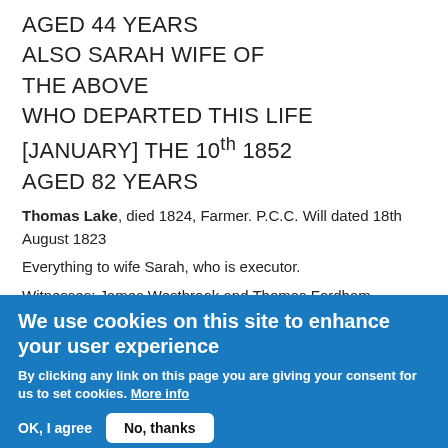AGED 44 YEARS
ALSO SARAH WIFE OF
THE ABOVE
WHO DEPARTED THIS LIFE
[JANUARY] THE 10th 1852
AGED 82 YEARS
Thomas Lake, died 1824, Farmer. P.C.C. Will dated 18th August 1823
Everything to wife Sarah, who is executor.
Witnesses: James Westbrook and Thomas Fordham
Proved 4th May 1824
Sarah Lake, died 1852, Widow of Thomas. P.C.C. Will dated 3rd
We use cookies on this site to enhance your user experience
By clicking any link on this page you are giving your consent for us to set cookies. More info
OK, I agree
No, thanks